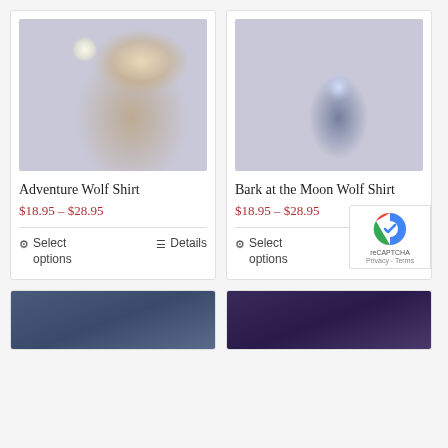[Figure (photo): T-shirt with wolf howling at moon design on purple/grey background]
Adventure Wolf Shirt
$18.95 – $28.95
Select options   Details
[Figure (photo): T-shirt with multiple wolves howling at moon design on dark blue tie-dye background]
Bark at the Moon Wolf Shirt
$18.95 – $28.95
Select options   Details
[Figure (photo): Partial view of another wolf t-shirt, dark blue]
[Figure (photo): Partial view of another wolf t-shirt, dark purple]